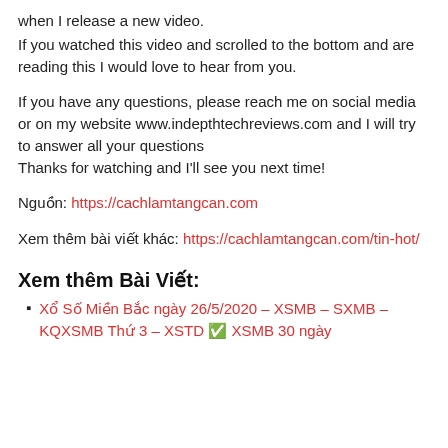when I release a new video.
If you watched this video and scrolled to the bottom and are reading this I would love to hear from you.
If you have any questions, please reach me on social media or on my website www.indepthtechreviews.com and I will try to answer all your questions
Thanks for watching and I'll see you next time!
Nguồn: https://cachlamtangcan.com
Xem thêm bài viết khác: https://cachlamtangcan.com/tin-hot/
Xem thêm Bài Viết:
Xổ Số Miền Bắc ngày 26/5/2020 – XSMB – SXMB – KQXSMB Thứ 3 – XSTD ✅ XSMB 30 ngày